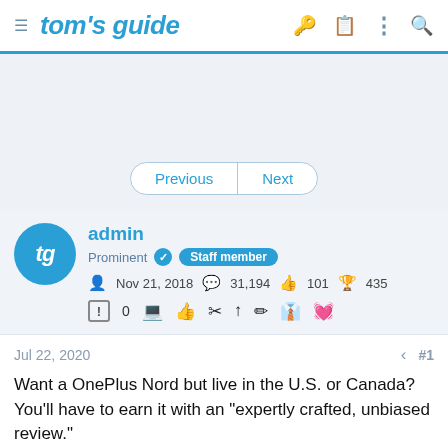tom's guide
[Figure (screenshot): Advertisement/banner placeholder area with light blue-grey background]
Previous   Next
admin
Prominent  Staff member
Nov 21, 2018  31,194  101  435
0
Jul 22, 2020  #1
Want a OnePlus Nord but live in the U.S. or Canada? You'll have to earn it with an "expertly crafted, unbiased review."